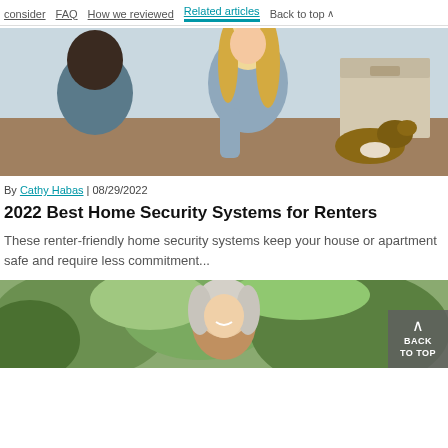consider | FAQ | How we reviewed | Related articles | Back to top
[Figure (photo): A man and woman sitting on the floor with a cardboard box and a small dog, smiling and moving into a new place]
By Cathy Habas | 08/29/2022
2022 Best Home Security Systems for Renters
These renter-friendly home security systems keep your house or apartment safe and require less commitment...
[Figure (photo): A smiling older woman outdoors with foliage in the background]